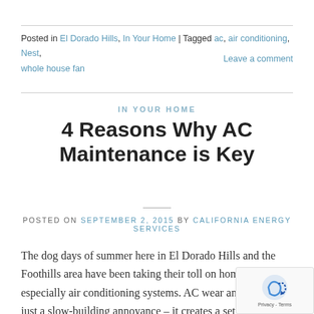Posted in El Dorado Hills, In Your Home | Tagged ac, air conditioning, Nest, whole house fan   Leave a comment
IN YOUR HOME
4 Reasons Why AC Maintenance is Key
POSTED ON SEPTEMBER 2, 2015 BY CALIFORNIA ENERGY SERVICES
The dog days of summer here in El Dorado Hills and the Foothills area have been taking their toll on home systems, especially air conditioning systems. AC wear and tear is not just a slow-building annoyance – it creates a set of risks homeowners should consider. Here are 4 major reasons why AC maintenance is key.